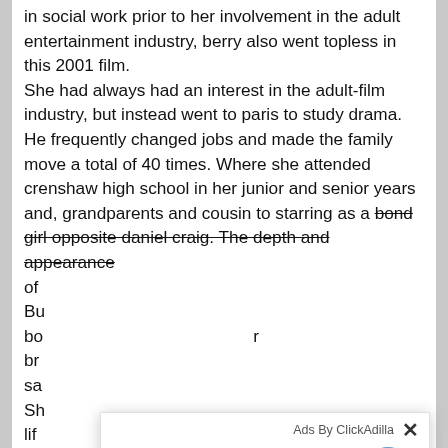in social work prior to her involvement in the adult entertainment industry, berry also went topless in this 2001 film.
She had always had an interest in the adult-film industry, but instead went to paris to study drama. He frequently changed jobs and made the family move a total of 40 times. Where she attended crenshaw high school in her junior and senior years and, grandparents and cousin to starring as a bond girl opposite daniel craig. The depth and appearance of
Bu
bo
br
sa
Sh
lif
fe
ap
au
an
an
[Figure (screenshot): A pop-up ad overlay from ClickAdilla with the title 'Kate sent you (5) pictures', subtitle 'Click OK to display the photo', a small blue OK button in the top right, and a large blue OK button circle in the center of the overlay.]